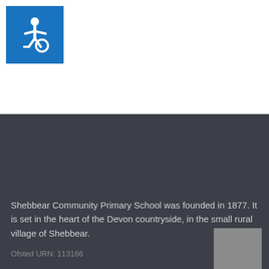[Figure (logo): International Symbol of Access (wheelchair accessibility icon) — white wheelchair user figure on blue background square]
Shebbear Community Primary School was founded in 1877. It is set in the heart of the Devon countryside, in the small rural village of Shebbear.
Ofsted URN: 113166